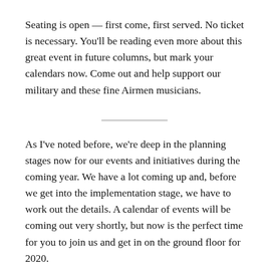Seating is open — first come, first served. No ticket is necessary. You'll be reading even more about this great event in future columns, but mark your calendars now. Come out and help support our military and these fine Airmen musicians.
As I've noted before, we're deep in the planning stages now for our events and initiatives during the coming year. We have a lot coming up and, before we get into the implementation stage, we have to work out the details. A calendar of events will be coming out very shortly, but now is the perfect time for you to join us and get in on the ground floor for 2020.
We're always looking for new volunteers — or volunteers to rejoin us. By getting involved now you can be part of the